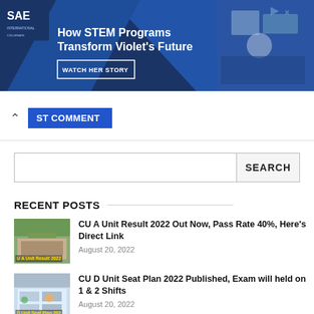[Figure (other): SAE advertisement banner: How STEM Programs Transform Violet's Future – Watch Her Story]
POST COMMENT
SEARCH
RECENT POSTS
CU A Unit Result 2022 Out Now, Pass Rate 40%, Here's Direct Link
August 20, 2022
CU D Unit Seat Plan 2022 Published, Exam will held on 1 & 2 Shifts
August 20, 2022